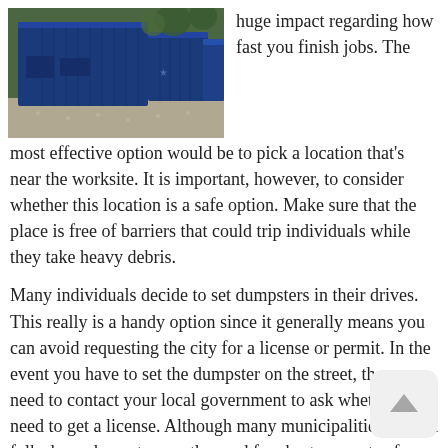[Figure (photo): Blue dumpster containers lined up outdoors on gravel with trees in background]
huge impact regarding how fast you finish jobs. The most effective option would be to pick a location that's near the worksite. It is important, however, to consider whether this location is a safe option. Make sure that the place is free of barriers that could trip individuals while they take heavy debris.
Many individuals decide to set dumpsters in their drives. This really is a handy option since it generally means you can avoid requesting the city for a license or permit. In the event you have to set the dumpster on the street, then you need to contact your local government to ask whether you need to get a license. Although many municipalities will let folks keep dumpsters on the road for short amounts of time, others are going to ask you to complete some paperwork. Following these rules can help you stay away from fines which will make your job more expensive.